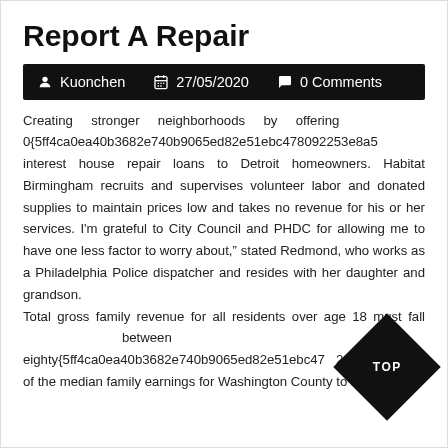Report A Repair
Kuonchen  27/05/2020  0 Comments
Creating stronger neighborhoods by offering 0{5ff4ca0ea40b3682e740b9065ed82e51ebc478092253e8a5 interest house repair loans to Detroit homeowners. Habitat Birmingham recruits and supervises volunteer labor and donated supplies to maintain prices low and takes no revenue for his or her services. I'm grateful to City Council and PHDC for allowing me to have one less factor to worry about," stated Redmond, who works as a Philadelphia Police dispatcher and resides with her daughter and grandson. Total gross family revenue for all residents over age 18 must fall between eighty{5ff4ca0ea40b3682e740b9065ed82e51ebc47 2253e of the median family earnings for Washington County to be